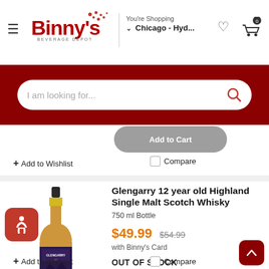Binny's Beverage Depot — You're Shopping Chicago - Hyd...
I am looking for...
+ Add to Wishlist
Compare
Glengarry 12 year old Highland Single Malt Scotch Whisky
750 ml Bottle
$49.99  $54.99 with Binny's Card
OUT OF STOCK
Check All Stores
Add to Cart
+ Add to Wishlist
Compare